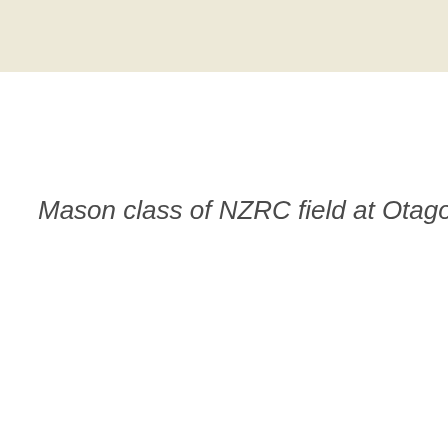[Figure (other): Beige/cream colored header band at the top of the page]
Mason class of NZRC field at Otago